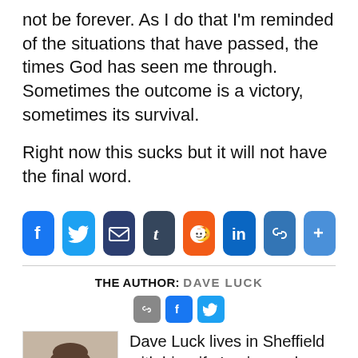not be forever. As I do that I'm reminded of the situations that have passed, the times God has seen me through. Sometimes the outcome is a victory, sometimes its survival.

Right now this sucks but it will not have the final word.
[Figure (infographic): Social share buttons: Facebook, Twitter, Email, Tumblr, Reddit, LinkedIn, Link, More]
THE AUTHOR: DAVE LUCK
[Figure (infographic): Author social icons: link, Facebook, Twitter]
[Figure (photo): Headshot photo of Dave Luck, a man with a beard wearing a dark top]
Dave Luck lives in Sheffield with his wife Louise and son Joe. Dave works as the Community Services Manager for Sheffield City Council. In 2017 Dave